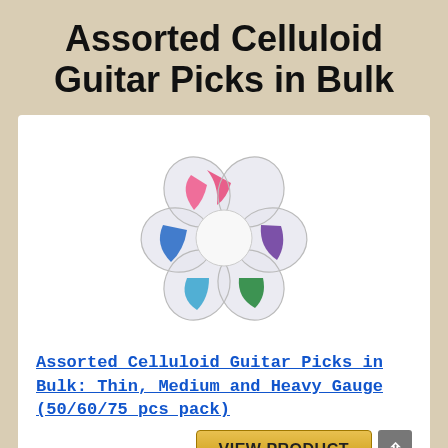Assorted Celluloid Guitar Picks in Bulk
[Figure (photo): A flower-shaped transparent plastic container divided into 6 petal-shaped compartments holding assorted colored celluloid guitar picks: pink (top), blue (left), teal/blue (bottom-left), green (bottom-right), purple (right), and a white center.]
Assorted Celluloid Guitar Picks in Bulk: Thin, Medium and Heavy Gauge (50/60/75 pcs pack)